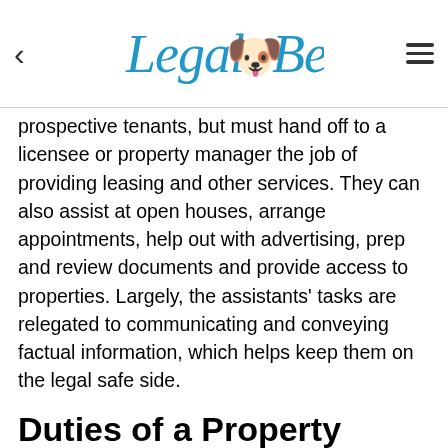Legal Beagle
prospective tenants, but must hand off to a licensee or property manager the job of providing leasing and other services. They can also assist at open houses, arrange appointments, help out with advertising, prep and review documents and provide access to properties. Largely, the assistants' tasks are relegated to communicating and conveying factual information, which helps keep them on the legal safe side.
Duties of a Property Manager
Naturally, the duties performed by property management services on a day-to-day basis intersect with California real estate laws in a wide